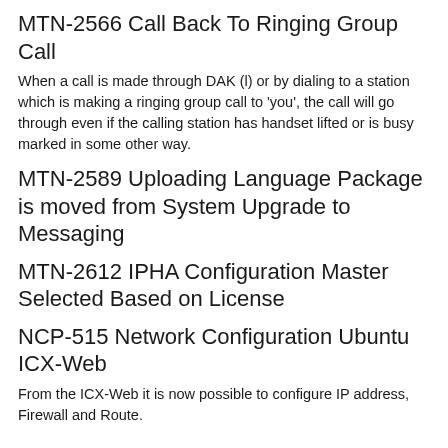MTN-2566 Call Back To Ringing Group Call
When a call is made through DAK (l) or by dialing to a station which is making a ringing group call to 'you', the call will go through even if the calling station has handset lifted or is busy marked in some other way.
MTN-2589 Uploading Language Package is moved from System Upgrade to Messaging
MTN-2612 IPHA Configuration Master Selected Based on License
NCP-515 Network Configuration Ubuntu ICX-Web
From the ICX-Web it is now possible to configure IP address, Firewall and Route.